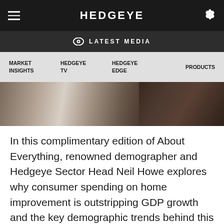HEDGEYE
LATEST MEDIA
MARKET INSIGHTS  HEDGEYE TV  HEDGEYE EDGE  PRODUCTS
[Figure (photo): Cropped photo strip showing an interior scene, likely a home improvement or furniture setting, dark tones on the right side.]
In this complimentary edition of About Everything, renowned demographer and Hedgeye Sector Head Neil Howe explores why consumer spending on home improvement is outstripping GDP growth and the key demographic trends behind this shift.